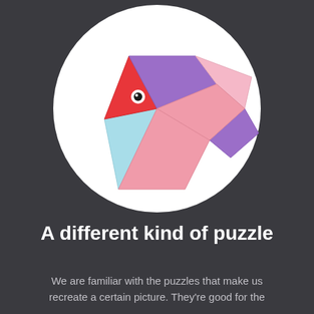[Figure (illustration): A tangram-style fish made from colorful geometric puzzle pieces (red triangle for head with an eye, light blue triangle for tail, purple and pink quadrilateral pieces for body and fins) arranged on a white circle background, all on a dark gray background.]
A different kind of puzzle
We are familiar with the puzzles that make us recreate a certain picture. They're good for the